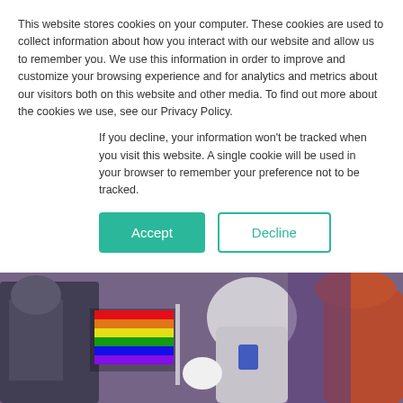This website stores cookies on your computer. These cookies are used to collect information about how you interact with our website and allow us to remember you. We use this information in order to improve and customize your browsing experience and for analytics and metrics about our visitors both on this website and other media. To find out more about the cookies we use, see our Privacy Policy.
If you decline, your information won't be tracked when you visit this website. A single cookie will be used in your browser to remember your preference not to be tracked.
Accept
Decline
[Figure (photo): A group of people in furry costumes, one holding a rainbow pride flag, photographed at what appears to be an outdoor event.]
Let's Talk About Furries
September 24th, 2021